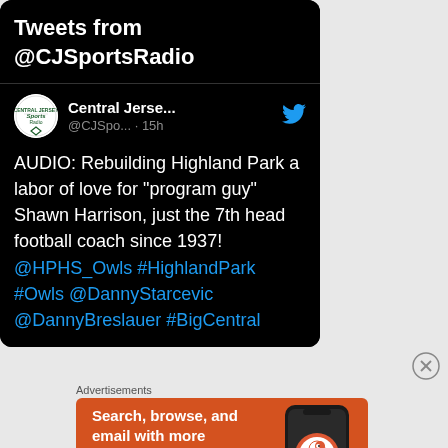Tweets from @CJSportsRadio
Central Jerse... @CJSpo... · 15h
AUDIO: Rebuilding Highland Park a labor of love for "program guy" Shawn Harrison, just the 7th head football coach since 1937! @HPHS_Owls #HighlandPark #Owls @DannyStarcevic @DannyBreslauer #BigCentral
Advertisements
[Figure (screenshot): DuckDuckGo advertisement: Search, browse, and email with more privacy. All in One Free App. Shows DuckDuckGo logo on phone.]